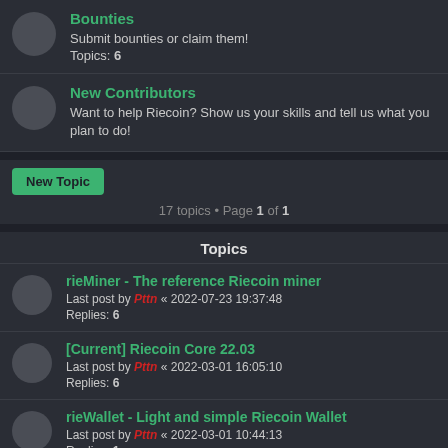Bounties - Submit bounties or claim them! Topics: 6
New Contributors - Want to help Riecoin? Show us your skills and tell us what you plan to do!
New Topic
17 topics • Page 1 of 1
Topics
rieMiner - The reference Riecoin miner. Last post by Pttn « 2022-07-23 19:37:48. Replies: 6
[Current] Riecoin Core 22.03. Last post by Pttn « 2022-03-01 16:05:10. Replies: 6
rieWallet - Light and simple Riecoin Wallet. Last post by Pttn « 2022-03-01 10:44:13. Replies: 1